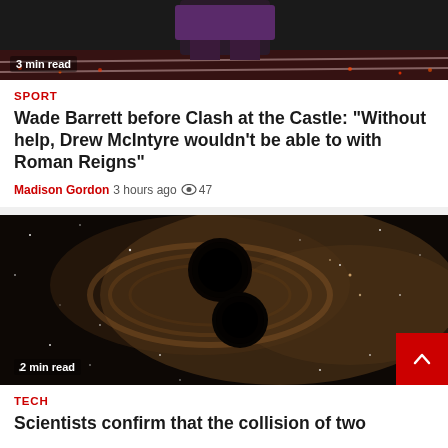[Figure (photo): Partial view of wrestling event image with '3 min read' badge at bottom left]
SPORT
Wade Barrett before Clash at the Castle: "Without help, Drew McIntyre wouldn't be able to with Roman Reigns"
Madison Gordon  3 hours ago  👁 47
[Figure (photo): Artistic rendering of two merging black holes surrounded by stars, with '2 min read' badge]
TECH
Scientists confirm that the collision of two